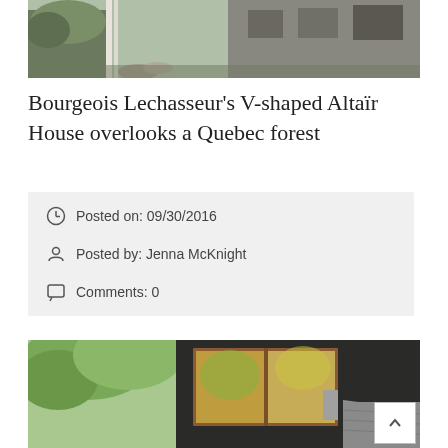[Figure (photo): Top photo of Altaïr House exterior with birch trees, rocks, and forest setting]
Bourgeois Lechasseur's V-shaped Altaïr House overlooks a Quebec forest
Posted on: 09/30/2016
Posted by: Jenna McKnight
Comments: 0
[Figure (photo): Bottom photo of Altaïr House exterior showing dark metal cladding, a large wood-framed window reflecting trees, and a sloped roof]